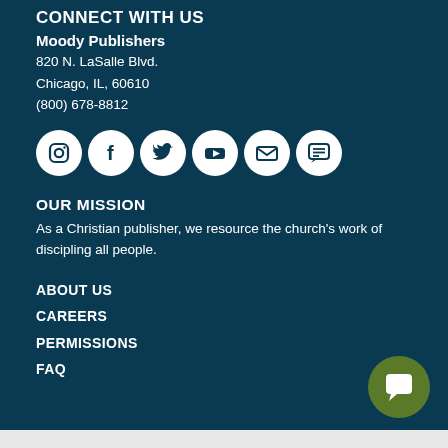CONNECT WITH US
Moody Publishers
820 N. LaSalle Blvd.
Chicago, IL, 60610
(800) 678-8812
[Figure (infographic): Six social media icons in white circles: Instagram, Facebook, Twitter, YouTube, Email, Chat]
OUR MISSION
As a Christian publisher, we resource the church's work of discipling all people.
ABOUT US
CAREERS
PERMISSIONS
FAQ